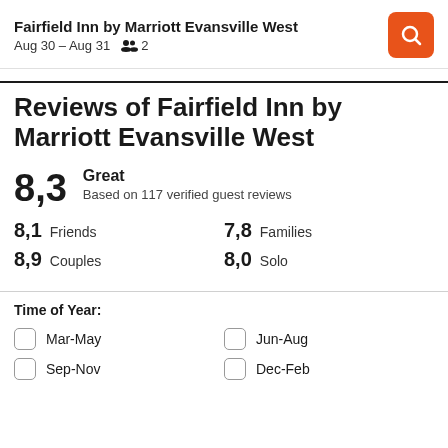Fairfield Inn by Marriott Evansville West — Aug 30 – Aug 31 — 2 guests
Reviews of Fairfield Inn by Marriott Evansville West
8,3 Great Based on 117 verified guest reviews
8,1 Friends | 7,8 Families | 8,9 Couples | 8,0 Solo
Time of Year:
Mar-May
Jun-Aug
Sep-Nov
Dec-Feb